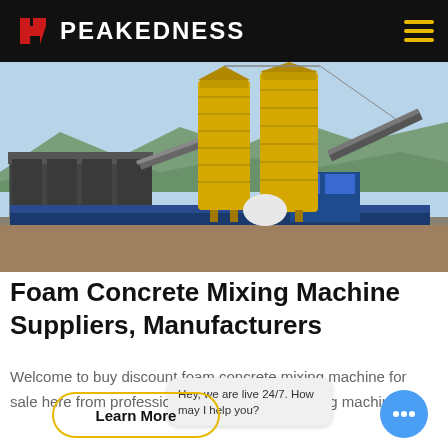PEAKEDNESS
[Figure (photo): Industrial concrete mixing plant with two tall yellow silos, conveyor belts, blue machinery, and mountains in the background under a clear blue sky.]
Foam Concrete Mixing Machine Suppliers, Manufacturers
Welcome to buy discount foam concrete mixing machine for sale here from professional foam concrete mixing machine
Hey, we are live 24/7. How may I help you?
Learn More